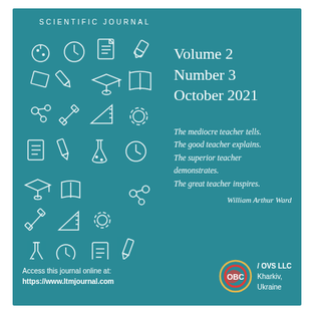SCIENTIFIC JOURNAL
[Figure (illustration): Collection of white outline education and science icons on teal background: flask, clock, document, pencil, graduation cap, book, molecules, ruler, gears, microscope, etc.]
Volume 2
Number 3
October 2021
The mediocre teacher tells. The good teacher explains. The superior teacher demonstrates. The great teacher inspires.

William Arthur Ward
Access this journal online at:
https://www.ltmjournal.com
[Figure (logo): OBC publisher logo — circular emblem with red and yellow design]
/ OVS LLC
Kharkiv,
Ukraine